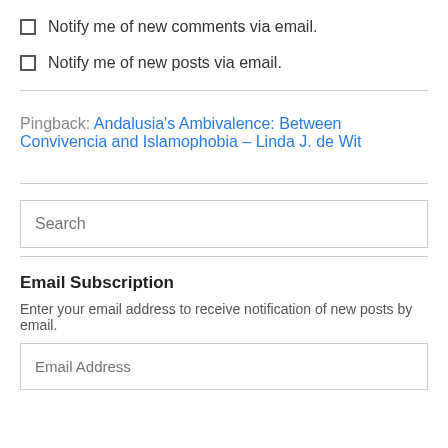Notify me of new comments via email.
Notify me of new posts via email.
Pingback: Andalusia's Ambivalence: Between Convivencia and Islamophobia – Linda J. de Wit
Search
Email Subscription
Enter your email address to receive notification of new posts by email.
Email Address